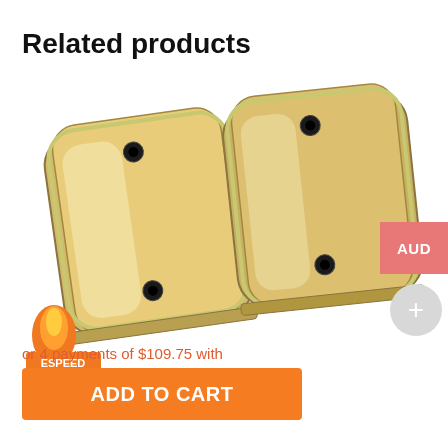Related products
[Figure (photo): Two chrome/gold valve covers for an engine, positioned side by side at an angle, with a Edelbrock or similar speed parts brand logo visible in the lower left corner of the image.]
or 4 payments of $109.75 with
[Figure (logo): Afterpay logo badge with chain link icon, shown in a rounded rectangle border]
ADD TO CART